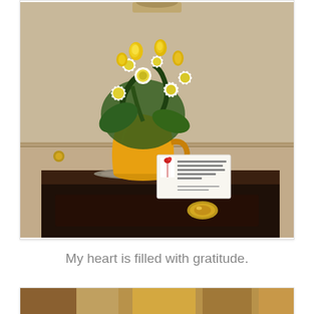[Figure (photo): A yellow ceramic pitcher/jug vase holding white daisy flowers and yellow roses on a dark wood nightstand or side table. A greeting card with a rose illustration is propped against the vase. The background shows a beige/cream wall with wainscoting. The table has a brass drawer pull visible.]
My heart is filled with gratitude.
[Figure (photo): Partial view of another photo at the bottom of the page, showing warm tones.]